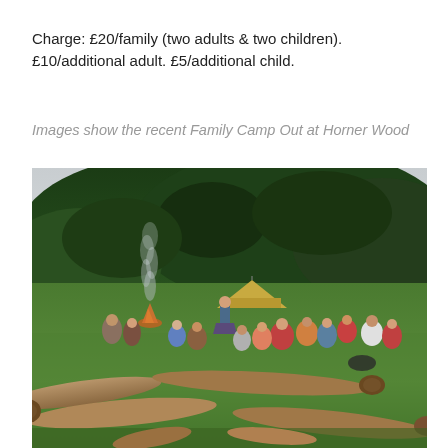Charge: £20/family (two adults & two children). £10/additional adult. £5/additional child.
Images show the recent Family Camp Out at Horner Wood
[Figure (photo): Outdoor group activity at a family camp out at Horner Wood. People, including children and adults, sit in a circle on logs around a campfire in a green field. Smoke rises from the fire. A yellow bell tent is visible in the background, with a wooded hillside beyond.]